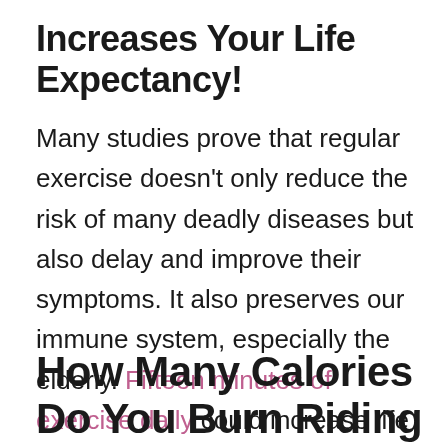Increases Your Life Expectancy!
Many studies prove that regular exercise doesn't only reduce the risk of many deadly diseases but also delay and improve their symptoms. It also preserves our immune system, especially the elderly. Fifteen minutes of exercise daily could increase life expectancy by three years!
How Many Calories Do You Burn Riding An Exercise...